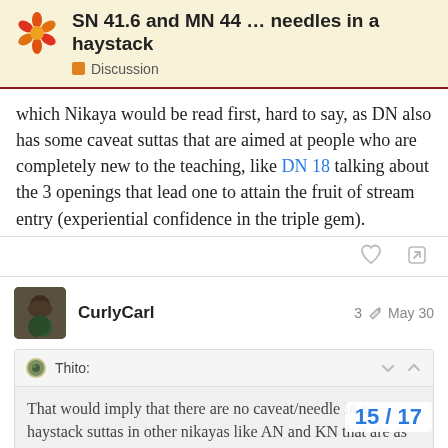SN 41.6 and MN 44 … needles in a haystack — Discussion
which Nikaya would be read first, hard to say, as DN also has some caveat suttas that are aimed at people who are completely new to the teaching, like DN 18 talking about the 3 openings that lead one to attain the fruit of stream entry (experiential confidence in the triple gem).
CurlyCarl  3  May 30
Thito: That would imply that there are no caveat/needle in a haystack suttas in other nikayas like AN and KN that are as equally important as sankhara defi
15 / 17